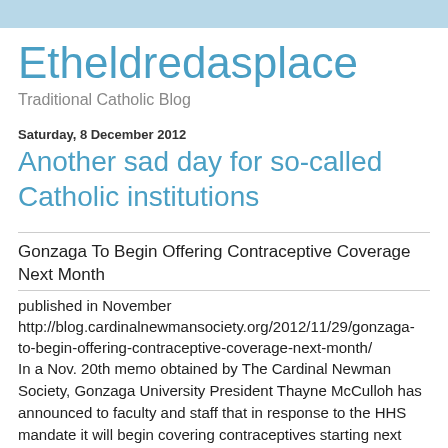Etheldredasplace
Traditional Catholic Blog
Saturday, 8 December 2012
Another sad day for so-called Catholic institutions
Gonzaga To Begin Offering Contraceptive Coverage Next Month
published in November
http://blog.cardinalnewmansociety.org/2012/11/29/gonzaga-to-begin-offering-contraceptive-coverage-next-month/
In a Nov. 20th memo obtained by The Cardinal Newman Society, Gonzaga University President Thayne McCulloh has announced to faculty and staff that in response to the HHS mandate it will begin covering contraceptives starting next month.